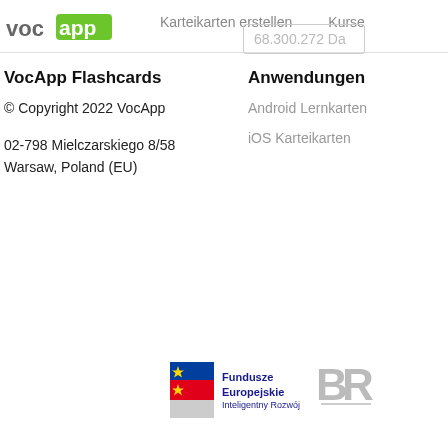[Figure (logo): VocApp logo with 'voc' in gray and 'app' in green rounded box]
Karteikarten erstellen   Kurse   68.300.272 Da
VocApp Flashcards
© Copyright 2022 VocApp
02-798 Mielczarskiego 8/58
Warsaw, Poland (EU)
Anwendungen
Android Lernkarten
iOS Karteikarten
[Figure (logo): Fundusze Europejskie Inteligentny Rozwój logo with EU flag colors]
[Figure (logo): BR logo partially visible on right side]